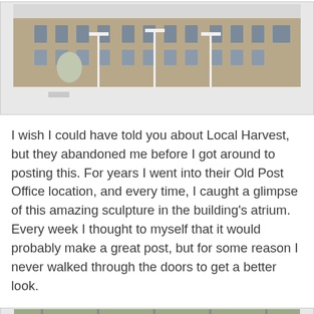[Figure (photo): Exterior view of an old post office building in winter, with snow on the ground and tall white lamp posts in front of the ornate stone facade. Street scene with parked cars visible.]
I wish I could have told you about Local Harvest, but they abandoned me before I got around to posting this. For years I went into their Old Post Office location, and every time, I caught a glimpse of this amazing sculpture in the building's atrium. Every week I thought to myself that it would probably make a great post, but for some reason I never walked through the doors to get a better look.
[Figure (photo): Interior atrium photo of the Old Post Office building showing a large sculptural group with reclining figures and an eagle on top, beneath a glass ceiling skylight.]